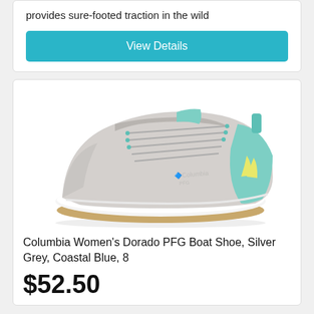provides sure-footed traction in the wild
View Details
[Figure (photo): Columbia Women's Dorado PFG Boat Shoe in Silver Grey and Coastal Blue color, side view showing the full sneaker with white sole and teal/mint accents]
Columbia Women's Dorado PFG Boat Shoe, Silver Grey, Coastal Blue, 8
$52.50